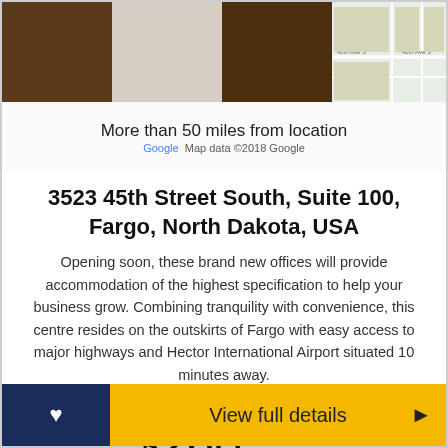[Figure (photo): Map and photo strip showing office interior photos on the left and a Google Maps view on the right with 'More than 50 miles from location' overlay]
3523 45th Street South, Suite 100, Fargo, North Dakota, USA
Opening soon, these brand new offices will provide accommodation of the highest specification to help your business grow. Combining tranquility with convenience, this centre resides on the outskirts of Fargo with easy access to major highways and Hector International Airport situated 10 minutes away.
Serviced offices from
$260 per person per month
View full details